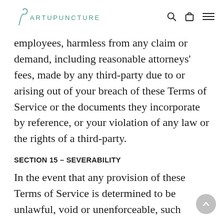ARTUPUNCTURE
employees, harmless from any claim or demand, including reasonable attorneys' fees, made by any third-party due to or arising out of your breach of these Terms of Service or the documents they incorporate by reference, or your violation of any law or the rights of a third-party.
SECTION 15 – SEVERABILITY
In the event that any provision of these Terms of Service is determined to be unlawful, void or unenforceable, such